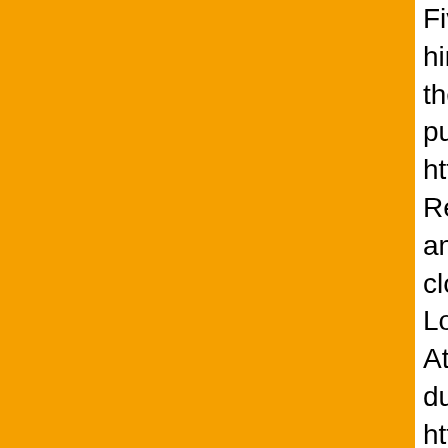Five minutes later the reel was screaming. A as we only had him on 40-pound fluoro lead pound bluefin tuna. Put him in the box and g Lee that the troll bite was going off only 6 mi put out the spread and trolled two nice 40- a href=" https://youtu.be/5R7LLc_4Tyc_" targe those trolled fish</a>. Returned the next day yellowfins in the 20- to 30-pound class amo porpoises. Fished the last two days trolling B days we clobbered the sharks. Today (Thurs Cherry Hill, Steve Karl of Loveladies and Eri had a bunch of sharks, mostly 3- to 4-foot At 200-pound-class dusky shark to the boat, ar 120-pound dusky just 4 miles off the beach. https://youtu.be/hfRKiRQv52E" target="_bla The ridge has been giving up bonita, Spanis for open-boat or charter Saturday through M for bonita and Spanish mackerel at Barnegar trip. If they relax the thunderstorm prediction also make the 60-mile run to the tuna groun a.m. to 1 p.m. Four people max. The mid-ran Four people max. All fish are shared on all tr these trips. You can always try us right up ur have a spot."
<b>Great Egg Harbor Inlet</b>
Two trips Monday and Tuesday took a shot a line, on the <b>Stray Cat</b> from Longpor